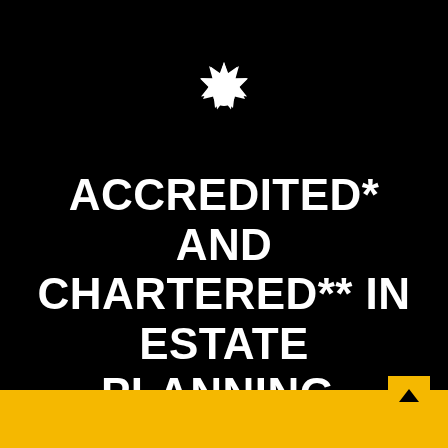[Figure (illustration): White starburst/seal icon on black background]
ACCREDITED* AND CHARTERED** IN ESTATE PLANNING, PROBATE, AND TRUST LAW:
[Figure (other): Gold/yellow bar at bottom of page with upward chevron arrow button in bottom right corner]